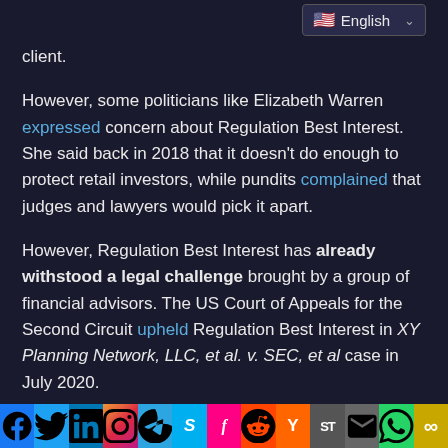client.
However, some politicians like Elizabeth Warren expressed concern about Regulation Best Interest. She said back in 2018 that it doesn't do enough to protect retail investors, while pundits complained that judges and lawyers would pick it apart.
However, Regulation Best Interest has already withstood a legal challenge brought by a group of financial advisors. The US Court of Appeals for the Second Circuit upheld Regulation Best Interest in XY Planning Network, LLC, et al. v. SEC, et al case in July 2020.
Another large financial regulator, FINRA, is also integrating Regulation Best Interest into its crypto rule-making and plans to revise existing rules.